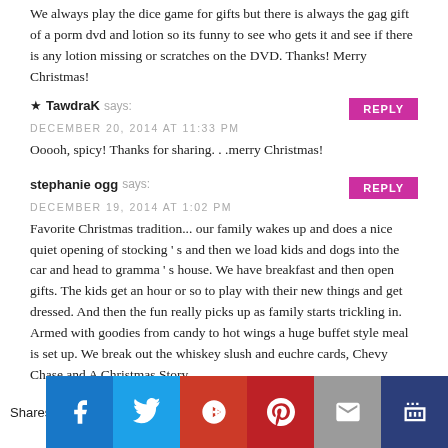We always play the dice game for gifts but there is always the gag gift of a porm dvd and lotion so its funny to see who gets it and see if there is any lotion missing or scratches on the DVD. Thanks! Merry Christmas!
TawdraK says: DECEMBER 20, 2014 AT 11:33 PM
Ooooh, spicy! Thanks for sharing. . .merry Christmas!
stephanie ogg says: DECEMBER 19, 2014 AT 1:02 PM
Favorite Christmas tradition... our family wakes up and does a nice quiet opening of stocking ’ s and then we load kids and dogs into the car and head to gramma ’ s house. We have breakfast and then open gifts. The kids get an hour or so to play with their new things and get dressed. And then the fun really picks up as family starts trickling in. Armed with goodies from candy to hot wings a huge buffet style meal is set up. We break out the whiskey slush and euchre cards, Chevy Chase and A Christmas Story.
Shares